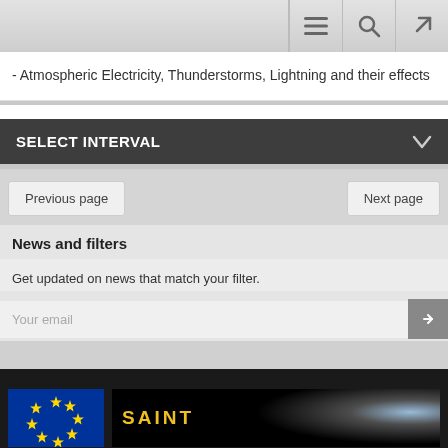Navigation bar with menu, search, and external link icons
- Atmospheric Electricity, Thunderstorms, Lightning and their effects
SELECT INTERVAL
Previous page | Next page
News and filters
Get updated on news that match your filter.
Your email
[Figure (logo): EU flag logo (blue background with yellow stars) and SAINT project logo (black background with yellow text and light flare)]